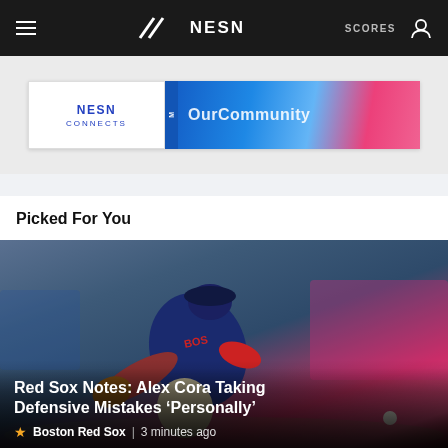NESN — SCORES
[Figure (screenshot): NESN Connects advertisement banner with blue gradient and text]
Picked For You
[Figure (photo): Boston Red Sox player in navy uniform fielding a ground ball, diving low with glove extended on a baseball field]
Red Sox Notes: Alex Cora Taking Defensive Mistakes ‘Personally’
Boston Red Sox  |  3 minutes ago